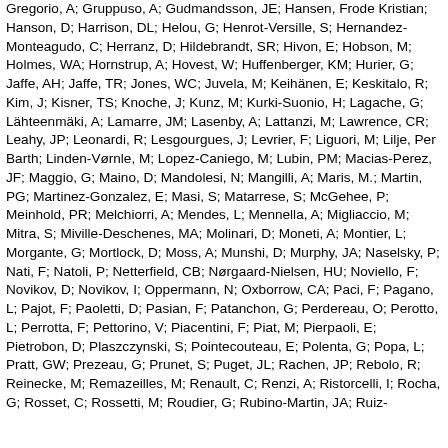Gregorio, A; Gruppuso, A; Gudmandsson, JE; Hansen, Frode Kristian; Hanson, D; Harrison, DL; Helou, G; Henrot-Versille, S; Hernandez-Monteagudo, C; Herranz, D; Hildebrandt, SR; Hivon, E; Hobson, M; Holmes, WA; Hornstrup, A; Hovest, W; Huffenberger, KM; Hurier, G; Jaffe, AH; Jaffe, TR; Jones, WC; Juvela, M; Keihänen, E; Keskitalo, R; Kim, J; Kisner, TS; Knoche, J; Kunz, M; Kurki-Suonio, H; Lagache, G; Lähteenmäki, A; Lamarre, JM; Lasenby, A; Lattanzi, M; Lawrence, CR; Leahy, JP; Leonardi, R; Lesgourgues, J; Levrier, F; Liguori, M; Lilje, Per Barth; Linden-Vørnle, M; Lopez-Caniego, M; Lubin, PM; Macias-Perez, JF; Maggio, G; Maino, D; Mandolesi, N; Mangilli, A; Maris, M.; Martin, PG; Martinez-Gonzalez, E; Masi, S; Matarrese, S; McGehee, P; Meinhold, PR; Melchiorri, A; Mendes, L; Mennella, A; Migliaccio, M; Mitra, S; Miville-Deschenes, MA; Molinari, D; Moneti, A; Montier, L; Morgante, G; Mortlock, D; Moss, A; Munshi, D; Murphy, JA; Naselsky, P; Nati, F; Natoli, P; Netterfield, CB; Nørgaard-Nielsen, HU; Noviello, F; Novikov, D; Novikov, I; Oppermann, N; Oxborrow, CA; Paci, F; Pagano, L; Pajot, F; Paoletti, D; Pasian, F; Patanchon, G; Perdereau, O; Perotto, L; Perrotta, F; Pettorino, V; Piacentini, F; Piat, M; Pierpaoli, E; Pietrobon, D; Plaszczynski, S; Pointecouteau, E; Polenta, G; Popa, L; Pratt, GW; Prezeau, G; Prunet, S; Puget, JL; Rachen, JP; Rebolo, R; Reinecke, M; Remazeilles, M; Renault, C; Renzi, A; Ristorcelli, I; Rocha, G; Rosset, C; Rossetti, M; Roudier, G; Rubino-Martin, JA; Ruiz-